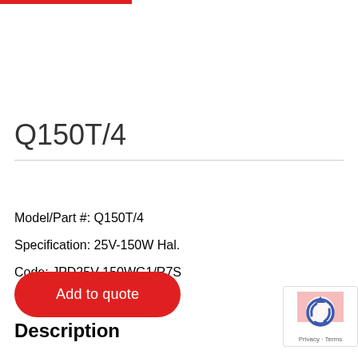Q150T/4
Model/Part #: Q150T/4
Specification: 25V-150W Hal.
Code: JPD25V-150WG1/R7S
Add to quote
Description